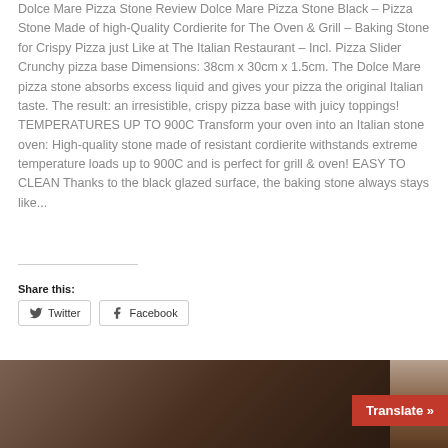Dolce Mare Pizza Stone Review Dolce Mare Pizza Stone Black – Pizza Stone Made of high-Quality Cordierite for The Oven & Grill – Baking Stone for Crispy Pizza just Like at The Italian Restaurant – Incl. Pizza Slider Crunchy pizza base Dimensions: 38cm x 30cm x 1.5cm. The Dolce Mare pizza stone absorbs excess liquid and gives your pizza the original Italian taste. The result: an irresistible, crispy pizza base with juicy toppings! TEMPERATURES UP TO 900C Transform your oven into an Italian stone oven: High-quality stone made of resistant cordierite withstands extreme temperature loads up to 900C and is perfect for grill & oven! EASY TO CLEAN Thanks to the black glazed surface, the baking stone always stays like...
Share this:
[Figure (other): Social share buttons for Twitter and Facebook]
[Figure (photo): Bottom portion of a pizza image with a red Translate button overlay]